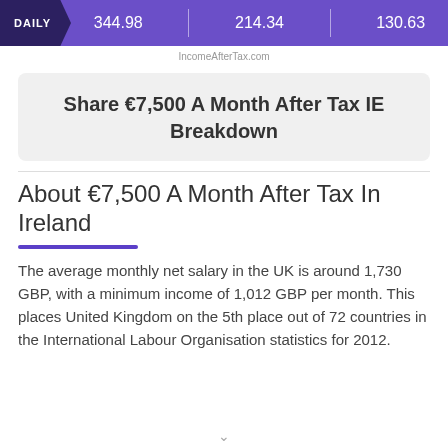DAILY  344.98  214.34  130.63
IncomeAfterTax.com
Share €7,500 A Month After Tax IE Breakdown
About €7,500 A Month After Tax In Ireland
The average monthly net salary in the UK is around 1,730 GBP, with a minimum income of 1,012 GBP per month. This places United Kingdom on the 5th place out of 72 countries in the International Labour Organisation statistics for 2012.